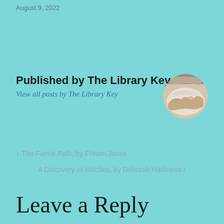August 9, 2022
Published by The Library Key
View all posts by The Library Key
[Figure (photo): Circular avatar image showing hands holding or turning pages of a book]
< The Faerie Path, by Frewin Jones
A Discovery of Witches, by Deborah Harkness >
Leave a Reply